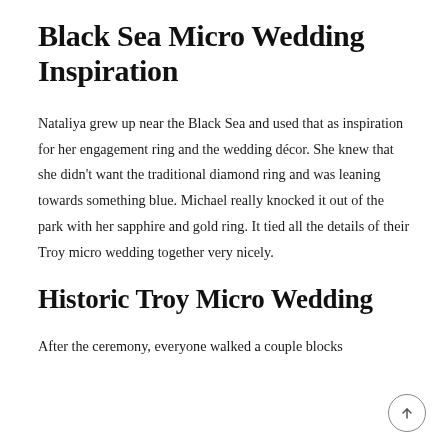Black Sea Micro Wedding Inspiration
Nataliya grew up near the Black Sea and used that as inspiration for her engagement ring and the wedding décor. She knew that she didn't want the traditional diamond ring and was leaning towards something blue. Michael really knocked it out of the park with her sapphire and gold ring. It tied all the details of their Troy micro wedding together very nicely.
Historic Troy Micro Wedding
After the ceremony, everyone walked a couple blocks